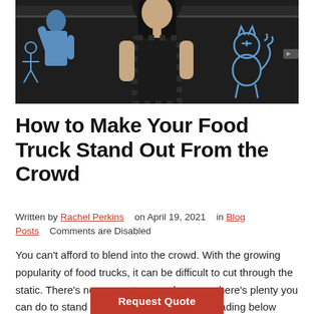[Figure (photo): Photo of a person (woman with dark hair, dark checkered dress) standing in front of a dark background with decorative blue graphic icons/characters. A person in a blue jacket is visible on the left side.]
How to Make Your Food Truck Stand Out From the Crowd
Written by Rachel Perkins  on April 19, 2021  in Blog Posts    Comments are Disabled
You can't afford to blend into the crowd. With the growing popularity of food trucks, it can be difficult to cut through the static. There's no reason to worry because there's plenty you can do to stand out from the crowd. Keep reading below to learn how to position yourself [...]